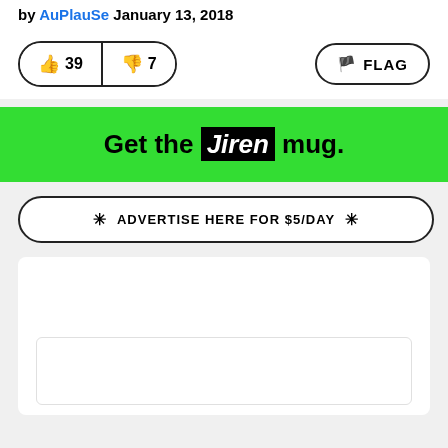by AuPlauSe January 13, 2018
[Figure (screenshot): Vote buttons showing thumbs up 39 and thumbs down 7, plus a FLAG button on the right]
Get the Jiren mug.
ADVERTISE HERE FOR $5/DAY
[Figure (other): White content area with an inner white box below, representing ad or content placeholder]